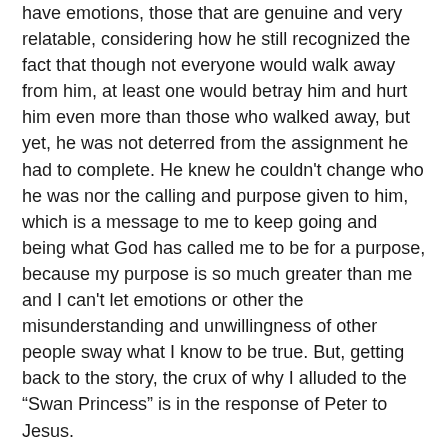have emotions, those that are genuine and very relatable, considering how he still recognized the fact that though not everyone would walk away from him, at least one would betray him and hurt him even more than those who walked away, but yet, he was not deterred from the assignment he had to complete. He knew he couldn't change who he was nor the calling and purpose given to him, which is a message to me to keep going and being what God has called me to be for a purpose, because my purpose is so much greater than me and I can't let emotions or other the misunderstanding and unwillingness of other people sway what I know to be true. But, getting back to the story, the crux of why I alluded to the “Swan Princess” is in the response of Peter to Jesus.
“Lord, to whom shall we go?”
“Where is the...